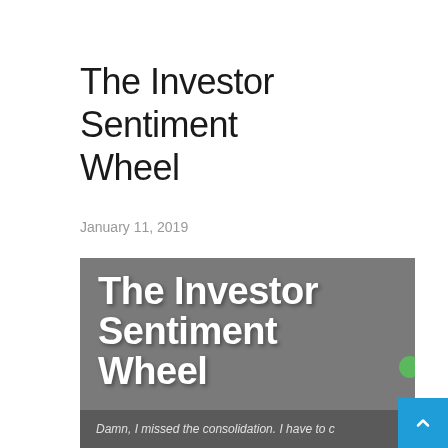The Investor Sentiment Wheel
January 11, 2019
[Figure (infographic): Cropped infographic showing the title 'The Investor Sentiment Wheel' in large bold white text on a dark gray background, with a partial green circle visible at right edge, and a bottom dark band with italic text 'Damn, I missed the consolidation. I have to c...']